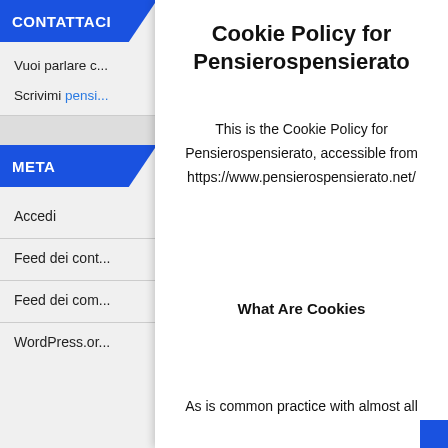CONTATTACI
Vuoi parlare c...
Scrivimi pensi...
META
Accedi
Feed dei cont...
Feed dei com...
WordPress.or...
Cookie Policy for Pensierospensierato
This is the Cookie Policy for Pensierospensierato, accessible from https://www.pensierospensierato.net/
What Are Cookies
As is common practice with almost all